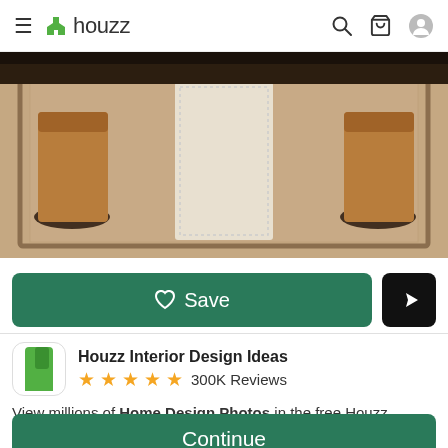≡ houzz
[Figure (photo): Interior design photo showing furniture legs and a woven area rug — close-up of a tan/beige woven rug with wooden and upholstered furniture legs visible.]
♡ Save
Houzz Interior Design Ideas ★★★★★ 300K Reviews
View millions of Home Design Photos in the free Houzz iPhone app
Continue
Go to Mobile Site